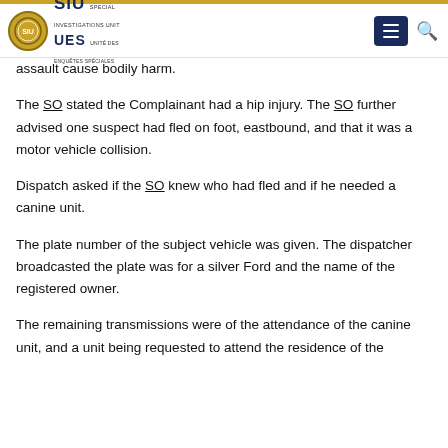SIU UES - Special Investigations Unit / Unité des Enquêtes Spéciales
assault cause bodily harm.
The SO stated the Complainant had a hip injury. The SO further advised one suspect had fled on foot, eastbound, and that it was a motor vehicle collision.
Dispatch asked if the SO knew who had fled and if he needed a canine unit.
The plate number of the subject vehicle was given. The dispatcher broadcasted the plate was for a silver Ford and the name of the registered owner.
The remaining transmissions were of the attendance of the canine unit, and a unit being requested to attend the residence of the